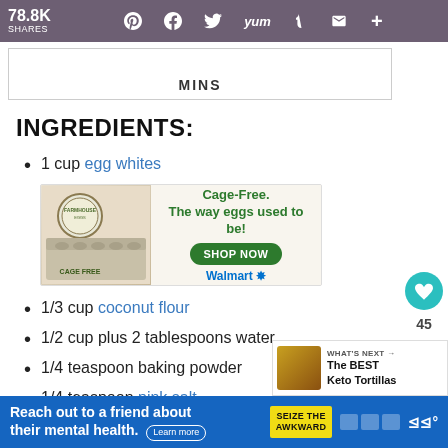78.8K SHARES — Pinterest, Facebook, Twitter, Yummly, Tumblr, Email, Plus
MINS
INGREDIENTS:
1 cup egg whites
[Figure (photo): Advertisement for cage-free eggs showing egg carton, Cage-Free text, The way eggs used to be!, SHOP NOW button, Walmart logo]
1/3 cup coconut flour
1/2 cup plus 2 tablespoons water
1/4 teaspoon baking powder
1/4 teaspoon pink salt
[Figure (photo): WHAT'S NEXT arrow: The BEST Keto Tortillas with food thumbnail]
Reach out to a friend about their mental health. Learn more — SEIZE THE AWKWARD